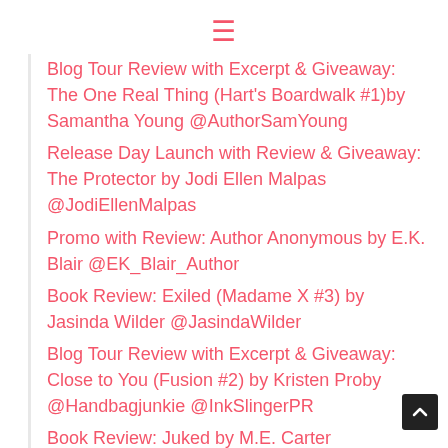≡
Blog Tour Review with Excerpt & Giveaway: The One Real Thing (Hart's Boardwalk #1)by Samantha Young @AuthorSamYoung
Release Day Launch with Review & Giveaway: The Protector by Jodi Ellen Malpas @JodiEllenMalpas
Promo with Review: Author Anonymous by E.K. Blair @EK_Blair_Author
Book Review: Exiled (Madame X #3) by Jasinda Wilder @JasindaWilder
Blog Tour Review with Excerpt & Giveaway: Close to You (Fusion #2) by Kristen Proby @Handbagjunkie @InkSlingerPR
Book Review: Juked by M.E. Carter